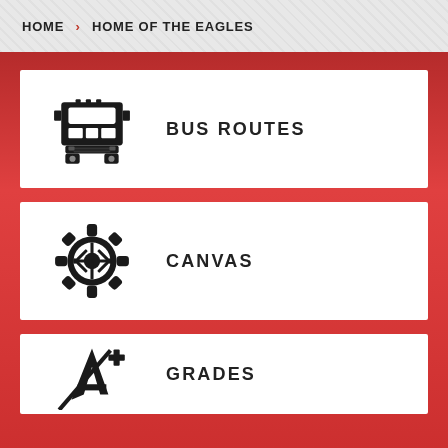HOME > HOME OF THE EAGLES
BUS ROUTES
CANVAS
GRADES